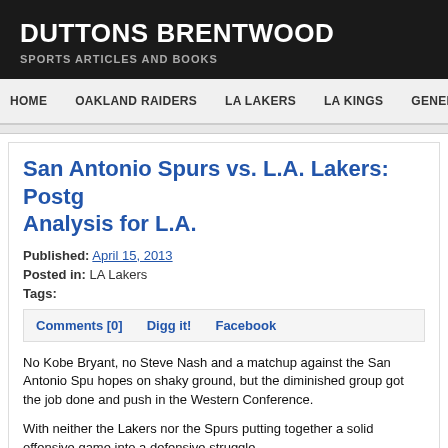DUTTONS BRENTWOOD
SPORTS ARTICLES AND BOOKS
HOME   OAKLAND RAIDERS   LA LAKERS   LA KINGS   GENERA
San Antonio Spurs vs. L.A. Lakers: Postg Analysis for L.A.
Published: April 15, 2013
Posted in: LA Lakers
Tags:
Comments [0]   Digg it!   Facebook
No Kobe Bryant, no Steve Nash and a matchup against the San Antonio Spu hopes on shaky ground, but the diminished group got the job done and push in the Western Conference.
With neither the Lakers nor the Spurs putting together a solid offensive game into a defensive struggle.
Who would have predicted that one?
Pau Gasol couldn't buy a bucket in the first half, and everybody but Dwight H some incredibly inefficient basketball.